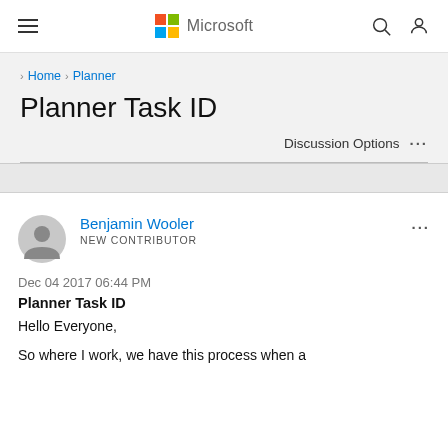[Figure (logo): Microsoft logo with colored grid squares and Microsoft brand name]
Home > Planner
Planner Task ID
Discussion Options ...
Benjamin Wooler
NEW CONTRIBUTOR
Dec 04 2017 06:44 PM
Planner Task ID
Hello Everyone,
So where I work, we have this process when a